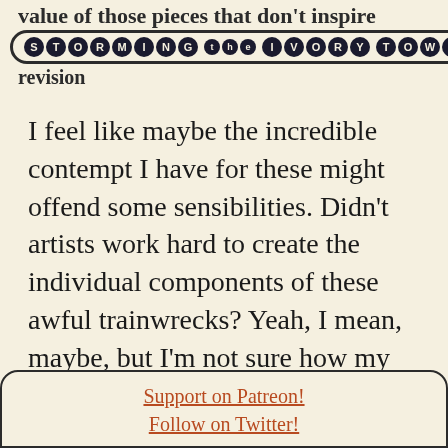value of those pieces that don't inspire
STORMING the IVORY TOWER
revision
I feel like maybe the incredible contempt I have for these might offend some sensibilities. Didn't artists work hard to create the individual components of these awful trainwrecks? Yeah, I mean, maybe, but I'm not sure how my calling these out as ugly as hell is more offensive than the incredible contempt that
Support on Patreon!
Follow on Twitter!